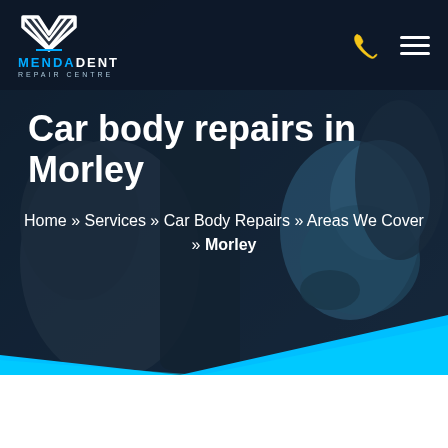[Figure (screenshot): MendaDent Repair Centre website header screenshot showing dark navy navigation bar with logo on left and phone/hamburger icons on right, over a hero image of a mechanic with a blue cloth, with page title and breadcrumb navigation.]
MENDADENT REPAIR CENTRE
Car body repairs in Morley
Home » Services » Car Body Repairs » Areas We Cover » Morley